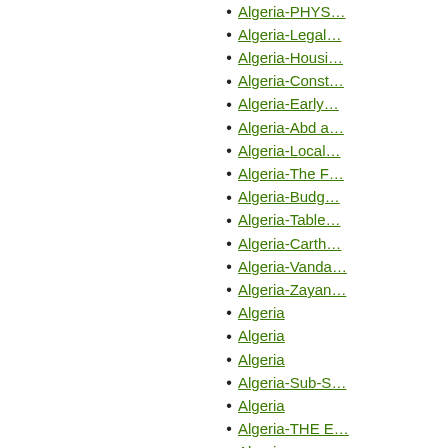Algeria-PHYS…
Algeria-Legal…
Algeria-Housi…
Algeria-Const…
Algeria-Early…
Algeria-Abd a…
Algeria-Local…
Algeria-The F…
Algeria-Budg…
Algeria-Table…
Algeria-Carth…
Algeria-Vanda…
Algeria-Zayan…
Algeria
Algeria
Algeria
Algeria-Sub-S…
Algeria
Algeria-THE E…
Algeria
Algeria-Cond…
Algeria-Exter…
Algeria-Perso…
Algeria-Comm…
Algeria-PREH…
Algeria-The E…
Algeria-Oppo…
Algeria
Algeria-ECON…
Algeria